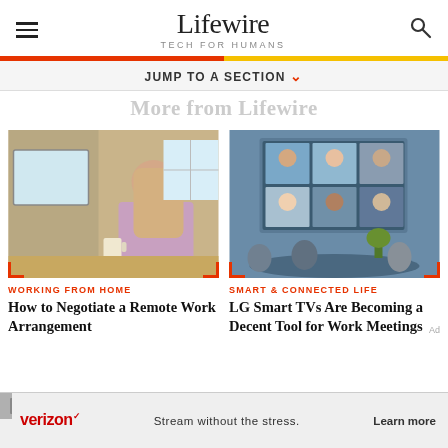Lifewire TECH FOR HUMANS
JUMP TO A SECTION
More from Lifewire
[Figure (photo): Man sitting at a desk working from home, looking at a computer monitor with a coffee mug nearby]
WORKING FROM HOME
How to Negotiate a Remote Work Arrangement
[Figure (photo): People in a conference room watching a large screen with a video call showing multiple participants]
SMART & CONNECTED LIFE
LG Smart TVs Are Becoming a Decent Tool for Work Meetings
[Figure (photo): Verizon advertisement banner: Stream without the stress. Learn more.]